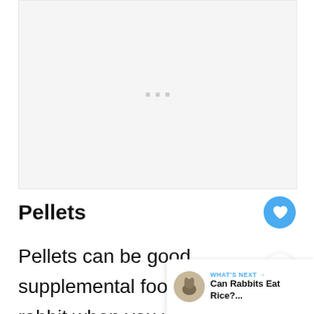[Figure (photo): Image placeholder area with loading dots indicator, light gray background]
Pellets
Pellets can be good supplemental food for your rabbit when you want to give them more vitamins and nutrients.